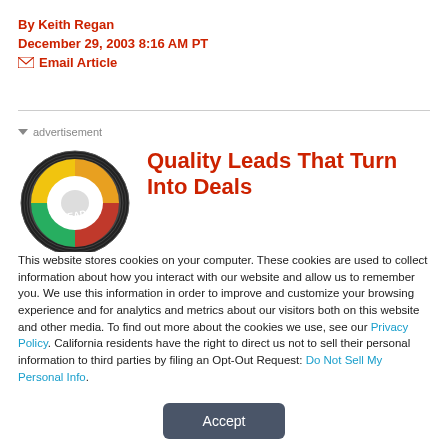By Keith Regan
December 29, 2003 8:16 AM PT
✉ Email Article
[Figure (other): Advertisement label with triangle arrow]
[Figure (illustration): Advertisement image showing a circular target/wheel with text LEADS]
Quality Leads That Turn Into Deals
This website stores cookies on your computer. These cookies are used to collect information about how you interact with our website and allow us to remember you. We use this information in order to improve and customize your browsing experience and for analytics and metrics about our visitors both on this website and other media. To find out more about the cookies we use, see our Privacy Policy. California residents have the right to direct us not to sell their personal information to third parties by filing an Opt-Out Request: Do Not Sell My Personal Info.